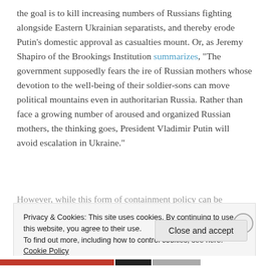the goal is to kill increasing numbers of Russians fighting alongside Eastern Ukrainian separatists, and thereby erode Putin's domestic approval as casualties mount. Or, as Jeremy Shapiro of the Brookings Institution summarizes, "The government supposedly fears the ire of Russian mothers whose devotion to the well-being of their soldier-sons can move political mountains even in authoritarian Russia. Rather than face a growing number of aroused and organized Russian mothers, the thinking goes, President Vladimir Putin will avoid escalation in Ukraine."
However, while this form of containment policy can be
Privacy & Cookies: This site uses cookies. By continuing to use this website, you agree to their use.
To find out more, including how to control cookies, see here: Cookie Policy
Close and accept